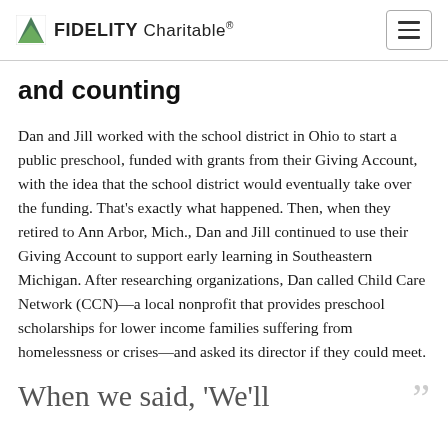FIDELITY Charitable®
and counting
Dan and Jill worked with the school district in Ohio to start a public preschool, funded with grants from their Giving Account, with the idea that the school district would eventually take over the funding. That's exactly what happened. Then, when they retired to Ann Arbor, Mich., Dan and Jill continued to use their Giving Account to support early learning in Southeastern Michigan. After researching organizations, Dan called Child Care Network (CCN)—a local nonprofit that provides preschool scholarships for lower income families suffering from homelessness or crises—and asked its director if they could meet.
When we said, 'We'll